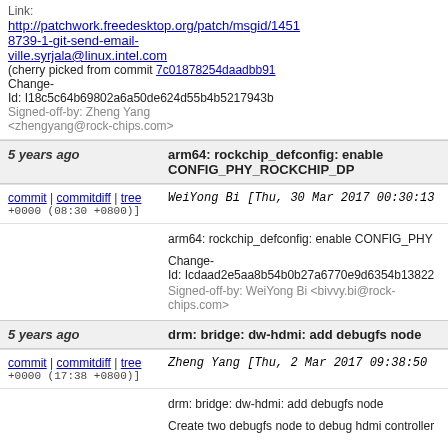Link: http://patchwork.freedesktop.org/patch/msgid/14518739-1-git-send-email-ville.syrjala@linux.intel.com (cherry picked from commit 7c01878254daadbb91...) Change-Id: I18c5c64b69802a6a50de624d55b4b5217943b... Signed-off-by: Zheng Yang <zhengyang@rock-chips.com>
5 years ago	arm64: rockchip_defconfig: enable CONFIG_PHY_ROCKCHIP_DP
commit | commitdiff | tree	WeiYong Bi [Thu, 30 Mar 2017 00:30:13 +0000 (08:30 +0800)]
arm64: rockchip_defconfig: enable CONFIG_PHY...
Change-Id: Icdaad2e5aa8b54b0b27a6770e9d6354b13822...
Signed-off-by: WeiYong Bi <bivvy.bi@rock-chips.com>
5 years ago	drm: bridge: dw-hdmi: add debugfs node
commit | commitdiff | tree	Zheng Yang [Thu, 2 Mar 2017 09:38:50 +0000 (17:38 +0800)]
drm: bridge: dw-hdmi: add debugfs node

Create two debugfs node to debug hdmi controller...